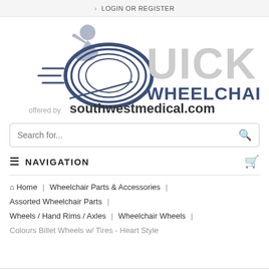> LOGIN OR REGISTER
[Figure (logo): Quickie Wheelchairs logo with wheelchair user graphic and stylized 'QUICKIE WHEELCHAIRS' text, offered by southwestmedical.com]
Search for...
NAVIGATION
Home | Wheelchair Parts & Accessories | Assorted Wheelchair Parts | Wheels / Hand Rims / Axles | Wheelchair Wheels | Colours Billet Wheels w/ Tires - Heart Style